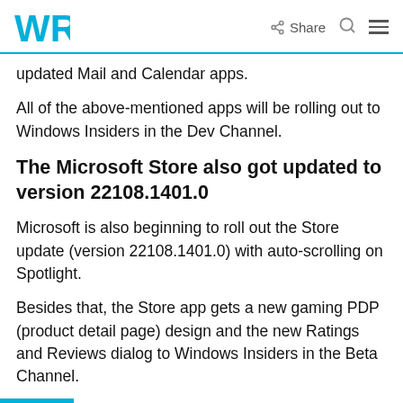WR | Share
updated Mail and Calendar apps.
All of the above-mentioned apps will be rolling out to Windows Insiders in the Dev Channel.
The Microsoft Store also got updated to version 22108.1401.0
Microsoft is also beginning to roll out the Store update (version 22108.1401.0) with auto-scrolling on Spotlight.
Besides that, the Store app gets a new gaming PDP (product detail page) design and the new Ratings and Reviews dialog to Windows Insiders in the Beta Channel.